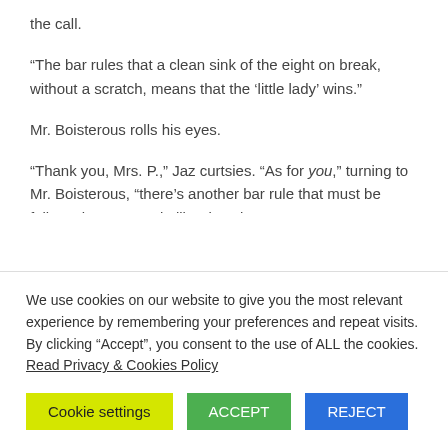the call.
“The bar rules that a clean sink of the eight on break, without a scratch, means that the ‘little lady’ wins.”
Mr. Boisterous rolls his eyes.
“Thank you, Mrs. P.,” Jaz curtsies. “As for you,” turning to Mr. Boisterous, “there’s another bar rule that must be followed — your rude liberties about my very sweet ass aside. Winner always buys the loser a drink. Get whatever
We use cookies on our website to give you the most relevant experience by remembering your preferences and repeat visits. By clicking “Accept”, you consent to the use of ALL the cookies. Read Privacy & Cookies Policy
Cookie settings | ACCEPT | REJECT